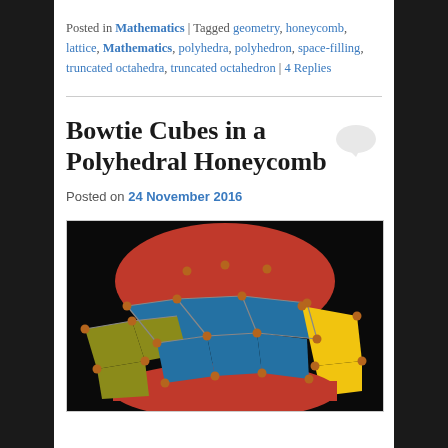Posted in Mathematics | Tagged geometry, honeycomb, lattice, Mathematics, polyhedra, polyhedron, space-filling, truncated octahedra, truncated octahedron | 4 Replies
Bowtie Cubes in a Polyhedral Honeycomb
Posted on 24 November 2016
[Figure (photo): 3D render of a polyhedral honeycomb showing colored geometric faces — red hexagons/squares on top, blue squares in middle band, yellow and olive/yellow-green polygons on sides, against a black background, with copper-colored vertices.]